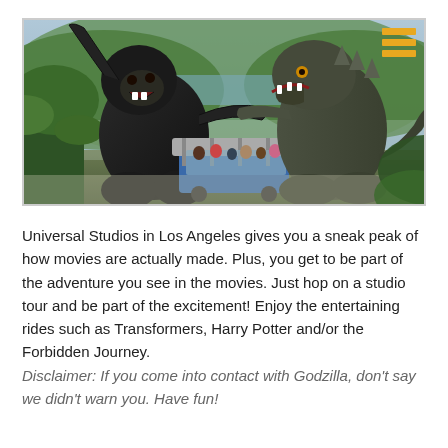[Figure (photo): Movie scene showing King Kong and Godzilla fighting in a jungle setting, with a tram of tourists visible between them. A hamburger menu icon in orange/gold is visible in the top right corner of the image.]
Universal Studios in Los Angeles gives you a sneak peak of how movies are actually made. Plus, you get to be part of the adventure you see in the movies. Just hop on a studio tour and be part of the excitement! Enjoy the entertaining rides such as Transformers, Harry Potter and/or the Forbidden Journey. Disclaimer: If you come into contact with Godzilla, don't say we didn't warn you. Have fun!